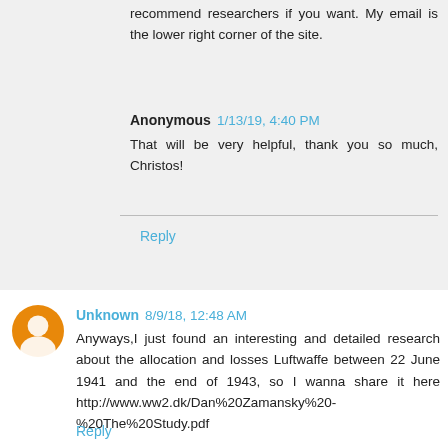recommend researchers if you want. My email is the lower right corner of the site.
Anonymous 1/13/19, 4:40 PM
That will be very helpful, thank you so much, Christos!
Reply
Unknown 8/9/18, 12:48 AM
Anyways,I just found an interesting and detailed research about the allocation and losses Luftwaffe between 22 June 1941 and the end of 1943, so I wanna share it here http://www.ww2.dk/Dan%20Zamansky%20-%20The%20Study.pdf
Reply